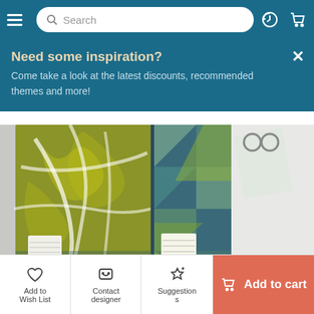Search bar with hamburger menu, history icon, and cart icon
Need some inspiration?
Come take a look at the latest discounts, recommended themes and more!
[Figure (photo): Product photo showing folded fabric/textile items with geometric patterns in teal, yellow-green and white, arranged in a box, viewed from above.]
Excellent Quality
Unique Style
Would Buy Again
Fast Delivery
Add to Wish List | Contact designer | Suggestions | Add to cart